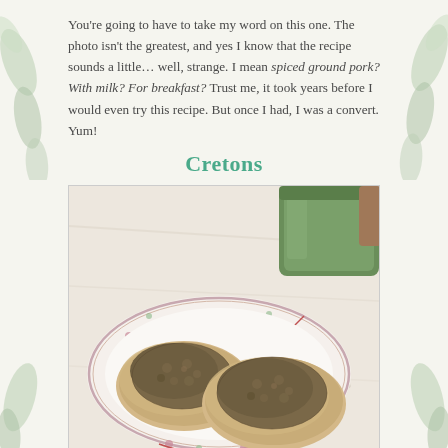You're going to have to take my word on this one. The photo isn't the greatest, and yes I know that the recipe sounds a little… well, strange. I mean spiced ground pork? With milk? For breakfast? Trust me, it took years before I would even try this recipe. But once I had, I was a convert. Yum!
Cretons
[Figure (photo): Photo of two English muffin halves topped with cretons (spiced ground pork spread) on a decorative floral china plate, with a green ceramic mug visible in the background, all on a white cloth napkin.]